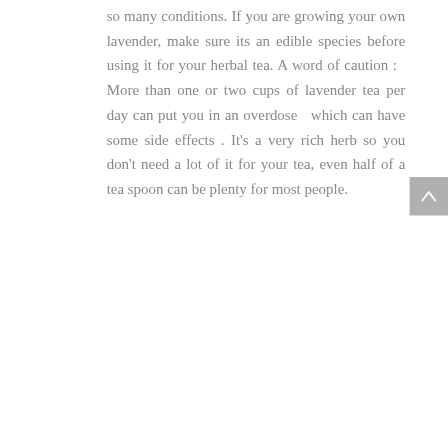so many conditions. If you are growing your own lavender, make sure its an edible species before using it for your herbal tea. A word of caution : More than one or two cups of lavender tea per day can put you in an overdose which can have some side effects . It's a very rich herb so you don't need a lot of it for your tea, even half of a tea spoon can be plenty for most people.